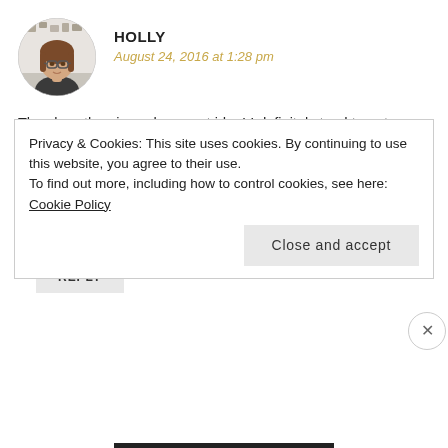[Figure (photo): Circular avatar photo of Holly, a young woman with glasses and long brown hair]
HOLLY
August 24, 2016 at 1:28 pm
The slowathon is such a great idea! I definitely tend to get caught up in the numbers, even though I know that it really makes no sense to do so. Who cares how many books I read? I would much rather read fewer quality challenging books than a bunch of tiny books that I can whip through with ease. Great post!
REPLY
Privacy & Cookies: This site uses cookies. By continuing to use this website, you agree to their use.
To find out more, including how to control cookies, see here: Cookie Policy
Close and accept